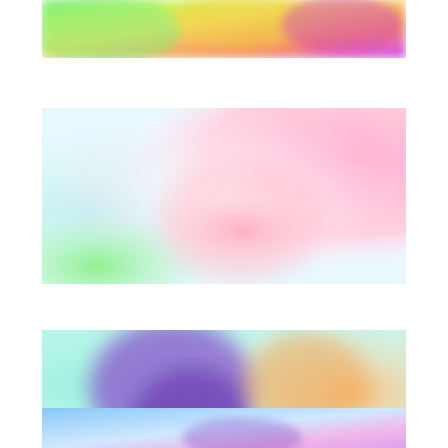[Figure (illustration): Abstract blurred pastel gradient image with green, yellow, orange, purple hues across the top strip]
[Figure (illustration): Abstract blurred pastel gradient image with light blue, white, pink tones — soft dreamy look]
[Figure (illustration): Abstract blurred pastel gradient image with cyan, purple cloud-like shape on left and orange, yellow on right]
[Figure (illustration): Abstract blurred pastel gradient image with light blue background, purple and pink hues, partially visible at bottom]